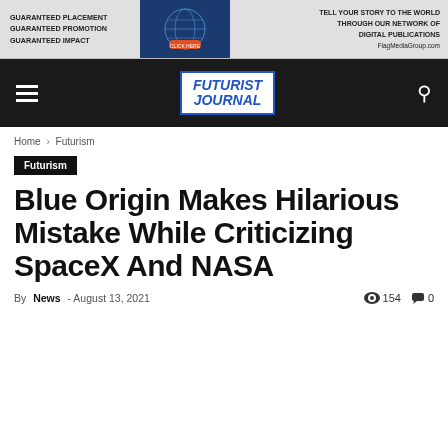[Figure (other): Advertisement banner: left text 'Guaranteed Placement Guaranteed Promotion Guaranteed Impact', center globe map image, right text 'Tell your story to the world through our network of digital publications. FlagMediaGroup.com']
FUTURIST JOURNAL — navigation bar with hamburger menu and search icon
Home › Futurism
Futurism
Blue Origin Makes Hilarious Mistake While Criticizing SpaceX And NASA
By News - August 13, 2021   👁 154   💬 0